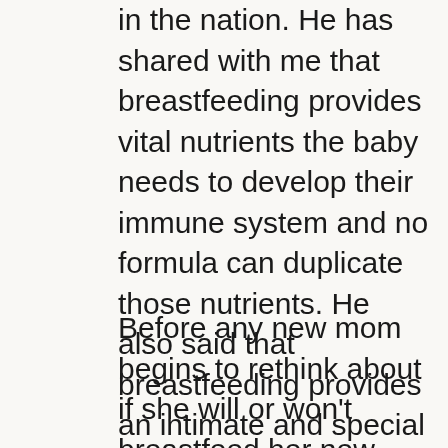in the nation. He has shared with me that breastfeeding provides vital nutrients the baby needs to develop their immune system and no formula can duplicate those nutrients. He also said that breastfeeding provides an intimate and special bond between mother and child. When that bonding is not allowed to take place, there are greater chances of problems later on between mother and child.
Before any new mom begins to rethink about if she will or won't breastfeed her new baby, don't let this latest report confuse her or dissuade. From everything I've read, heard and been told, the immediate and long-term benefits of breastfeeding far outweigh non-issues like this latest report. Talk it over with your husband and doctor and then pray about it. It's really a more